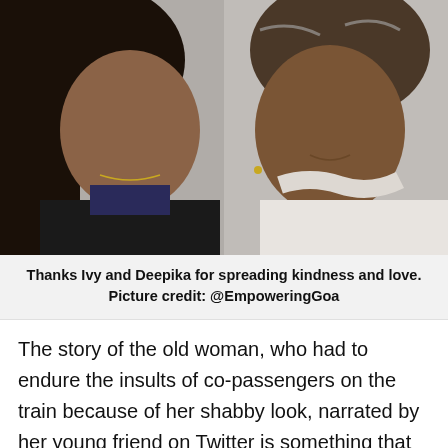[Figure (photo): A selfie-style photo of two women seated together, likely on a train. On the left is a younger woman with long dark hair wearing a dark jacket with a patterned top. On the right is an older woman with grey-streaked hair wearing a white outfit.]
Thanks Ivy and Deepika for spreading kindness and love. Picture credit: @EmpoweringGoa
The story of the old woman, who had to endure the insults of co-passengers on the train because of her shabby look, narrated by her young friend on Twitter is something that will leave you with a warm and fuzzy feeling.
In spite of all odds, losing her beloved husband and